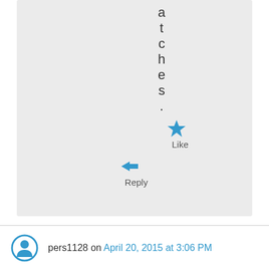a t c h e s .
[Figure (other): Blue star icon for Like button]
Like
[Figure (other): Blue reply arrow icon]
Reply
[Figure (other): Blue circular power/user icon for user pers1128]
pers1128 on April 20, 2015 at 3:06 PM